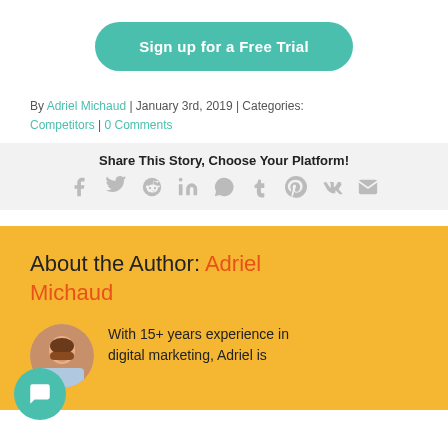[Figure (other): Green rounded button with white text 'Sign up for a Free Trial']
By Adriel Michaud | January 3rd, 2019 | Categories: Competitors | 0 Comments
Share This Story, Choose Your Platform!
[Figure (infographic): Social sharing icons: Facebook, Twitter, Reddit, LinkedIn, WhatsApp, Tumblr, Pinterest, VK, Email]
About the Author: Adriel Michaud
With 15+ years experience in digital marketing, Adriel is